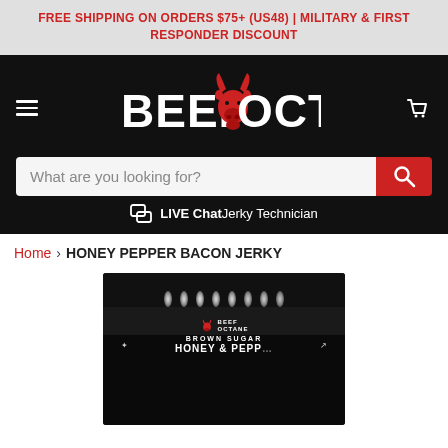FREE SHIPPING ON ORDERS $75+ (US48) | MILITARY & FIRST RESPONDER DISCOUNT
[Figure (logo): Beef Octane logo: red bull head between BEEF and OCTANE text in white on black background, with hamburger menu and cart icon]
What are you looking for?
LIVE Chat Jerky Technician
Home > HONEY PEPPER BACON JERKY
[Figure (photo): Black and white photo of Beef Octane Brown Sugar Honey & Pepper bacon jerky product bag displayed in dark setting with overhead lights]